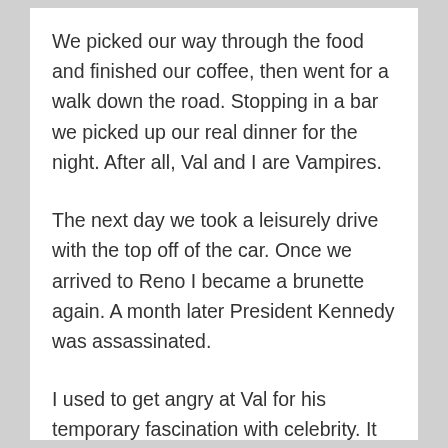We picked our way through the food and finished our coffee, then went for a walk down the road. Stopping in a bar we picked up our real dinner for the night. After all, Val and I are Vampires.
The next day we took a leisurely drive with the top off of the car. Once we arrived to Reno I became a brunette again. A month later President Kennedy was assassinated.
I used to get angry at Val for his temporary fascination with celebrity. It started when we where children and he'd pick up bits of information in Harper's Weekly. From there it snowballed. He couldn't seem to get enough of gossip and sorted stories about people he'd